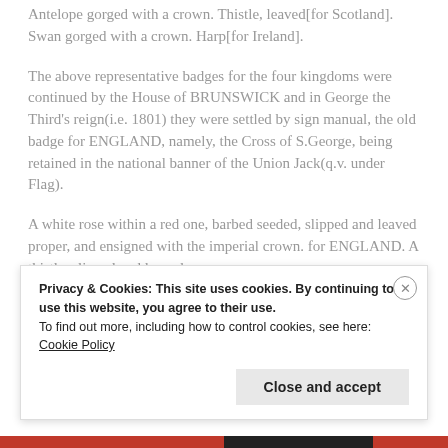Antelope gorged with a crown. Thistle, leaved[for Scotland]. Swan gorged with a crown. Harp[for Ireland].
The above representative badges for the four kingdoms were continued by the House of BRUNSWICK and in George the Third’s reign(i.e. 1801) they were settled by sign manual, the old badge for ENGLAND, namely, the Cross of S.George, being retained in the national banner of the Union Jack(q.v. under Flag).
A white rose within a red one, barbed seeded, slipped and leaved proper, and ensigned with the imperial crown. for ENGLAND. A thistle. slipped and leaved
Privacy & Cookies: This site uses cookies. By continuing to use this website, you agree to their use.
To find out more, including how to control cookies, see here: Cookie Policy
Close and accept